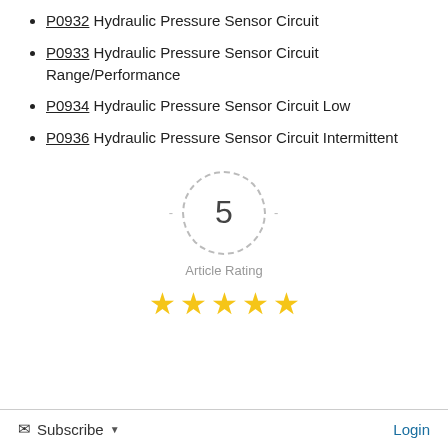P0932 Hydraulic Pressure Sensor Circuit
P0933 Hydraulic Pressure Sensor Circuit Range/Performance
P0934 Hydraulic Pressure Sensor Circuit Low
P0936 Hydraulic Pressure Sensor Circuit Intermittent
[Figure (other): Article rating display showing number 5 inside a dashed circle with dashes on either side, label 'Article Rating' below, and 5 gold stars beneath that.]
Subscribe  Login